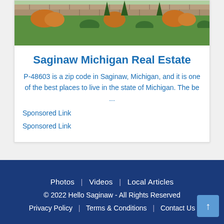[Figure (photo): Landscaped garden with stone retaining walls, evergreen shrubs, and orange flowering plants on green lawn]
Saginaw Michigan Real Estate
P-48603 is a zip code in Saginaw, Michigan, and it is one of the best places to live in the state of Michigan. The be ...
Sponsored Link
Sponsored Link
[Figure (map): Street map snippet showing road intersections with light background]
Photos | Videos | Local Articles
© 2022 Hello Saginaw - All Rights Reserved
Privacy Policy | Terms & Conditions | Contact Us